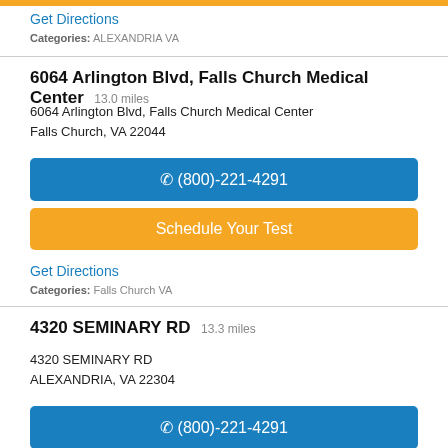[Figure (other): Orange button bar at top of page (partial, cropped)]
Get Directions
Categories: ALEXANDRIA VA
6064 Arlington Blvd, Falls Church Medical Center 13.0 miles
6064 Arlington Blvd, Falls Church Medical Center
Falls Church, VA 22044
(800)-221-4291
Schedule Your Test
Get Directions
Categories: Falls Church VA
4320 SEMINARY RD 13.3 miles
4320 SEMINARY RD
ALEXANDRIA, VA 22304
(800)-221-4291